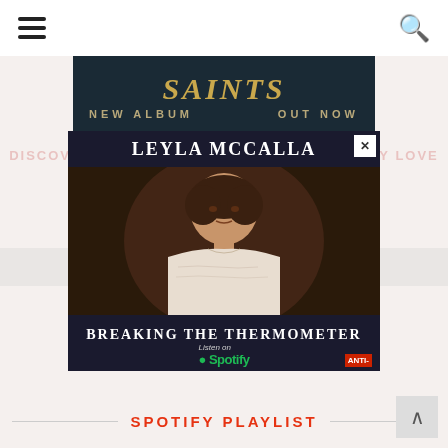Navigation header with hamburger menu and search icon
[Figure (other): Saints new album out now promotional banner with dark teal background and gold lettering]
DISCOVER MORE OF THE MUSIC YOU ALREADY LOVE
Run on two no our two wells tell us tell no wells that no roots and more. columns another from No Depression.
Enter your email here
We use are your privacy as email to email. Email link no ads more
[Figure (other): Leyla McCalla - Breaking The Thermometer album advertisement with artist photo, Spotify listen link, and ANTI- record label badge]
SPOTIFY PLAYLIST